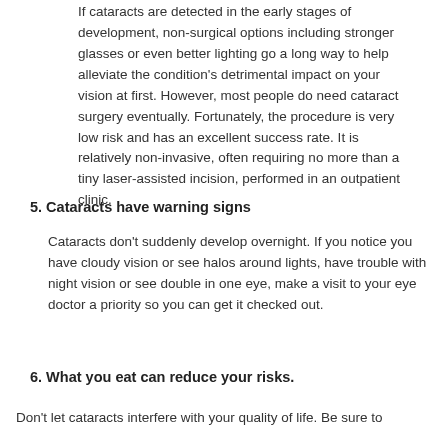If cataracts are detected in the early stages of development, non-surgical options including stronger glasses or even better lighting go a long way to help alleviate the condition's detrimental impact on your vision at first. However, most people do need cataract surgery eventually. Fortunately, the procedure is very low risk and has an excellent success rate. It is relatively non-invasive, often requiring no more than a tiny laser-assisted incision, performed in an outpatient clinic.
5. Cataracts have warning signs
Cataracts don't suddenly develop overnight. If you notice you have cloudy vision or see halos around lights, have trouble with night vision or see double in one eye, make a visit to your eye doctor a priority so you can get it checked out.
6. What you eat can reduce your risks.
Don't let cataracts interfere with your quality of life. Be sure to